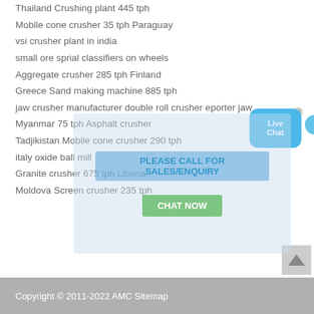Thailand Crushing plant 445 tph
Mobile cone crusher 35 tph Paraguay
vsi crusher plant in india
small ore sprial classifiers on wheels
Aggregate crusher 285 tph Finland
Greece Sand making machine 885 tph
jaw crusher manufacturer double roll crusher eporter jaw
Myanmar 75 tph Asphalt crusher
Tadjikistan Mobile cone crusher 290 tph
italy oxide ball mill
Granite crusher 675 tph Liberia
Moldova Screen crusher 235 tph
[Figure (screenshot): Live Chat widget overlay with blue bubble and close button, and a semi-transparent overlay with phone number banner and CHAT NOW button]
Copyright © 2011-2022 AMC Sitemap